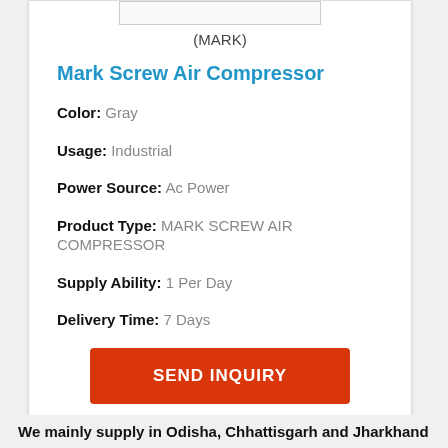(MARK)
Mark Screw Air Compressor
Color: Gray
Usage: Industrial
Power Source: Ac Power
Product Type: MARK SCREW AIR COMPRESSOR
Supply Ability: 1 Per Day
Delivery Time: 7 Days
SEND INQUIRY
We mainly supply in Odisha, Chhattisgarh and Jharkhand